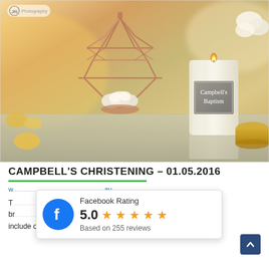[Figure (photo): Photo of a christening/baptism candle with label 'Campbell's Baptism' in a glass jar, lit, next to a rose gold geometric wire lamp/lantern holding white flowers, on a mirrored surface with gold accents and yellow votives]
Campbell's Christening – 01.05.2016
w...au
[Figure (infographic): Facebook Rating popup showing 5.0 stars based on 255 reviews]
T... do if you're going to be a br... member of the Bride Tri... include organising and attending any and all bridal showers,